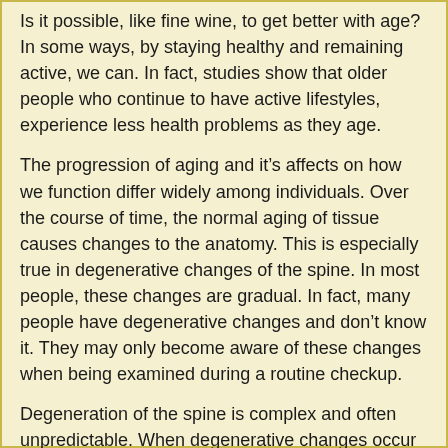Is it possible, like fine wine, to get better with age? In some ways, by staying healthy and remaining active, we can. In fact, studies show that older people who continue to have active lifestyles, experience less health problems as they age.
The progression of aging and it’s affects on how we function differ widely among individuals. Over the course of time, the normal aging of tissue causes changes to the anatomy. This is especially true in degenerative changes of the spine. In most people, these changes are gradual. In fact, many people have degenerative changes and don’t know it. They may only become aware of these changes when being examined during a routine checkup.
Degeneration of the spine is complex and often unpredictable. When degenerative changes occur in the joints, accompanied by pain and swelling, it is referred to as osteoarthritis. Other degenerative conditions that affect the spine include:
• Osteoporosis
• Degenerative Disc Disease